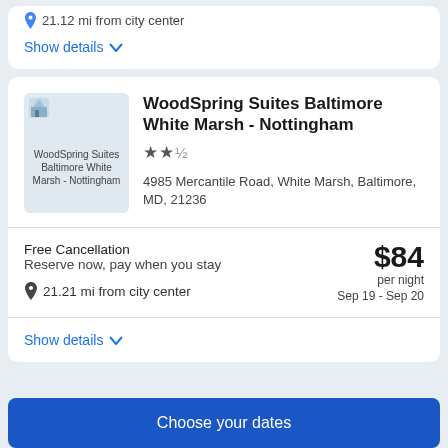21.12 mi from city center
Show details
WoodSpring Suites Baltimore White Marsh - Nottingham
★★½
4985 Mercantile Road, White Marsh, Baltimore, MD, 21236
Free Cancellation
Reserve now, pay when you stay
21.21 mi from city center
$84 per night
Sep 19 - Sep 20
Show details
Choose your dates